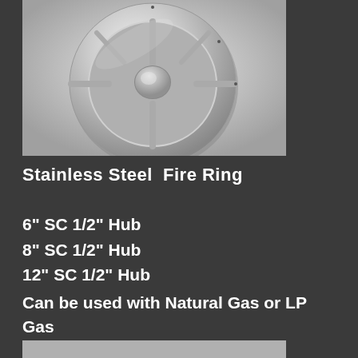[Figure (photo): Stainless steel fire ring viewed from above, showing circular ring with hub center and spokes, polished metallic finish]
Stainless Steel  Fire Ring
6" SC 1/2" Hub
8" SC 1/2" Hub
12" SC 1/2" Hub
Can be used with Natural Gas or LP Gas